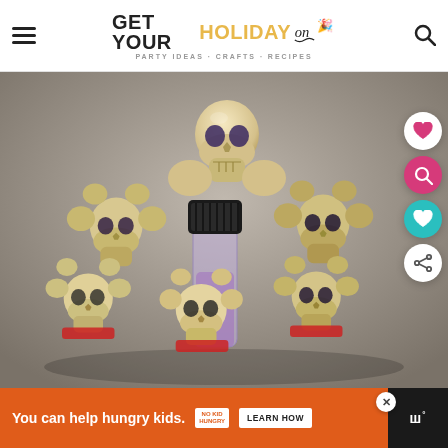GET YOUR HOLIDAY on — PARTY IDEAS · CRAFTS · RECIPES
[Figure (photo): A collection of skeleton/skull decorations arranged around a clear bottle with a black cap. Multiple plastic skull figures in cream/bone color with some red accents at the bottom. Background is blurred gray.]
You can help hungry kids. NO KID HUNGRY LEARN HOW